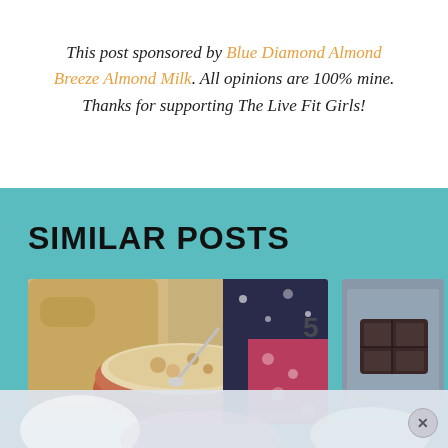This post sponsored by Blue Diamond Almond Breeze Almond Milk. All opinions are 100% mine. Thanks for supporting The Live Fit Girls!
SIMILAR POSTS
[Figure (photo): A bowl of oatmeal or mashed banana dish with nuts, on a wooden cutting board with a spoon, colorful patterned fabric in background]
[Figure (photo): Partial view of a chocolate or dark food item in a clear container, with grey background]